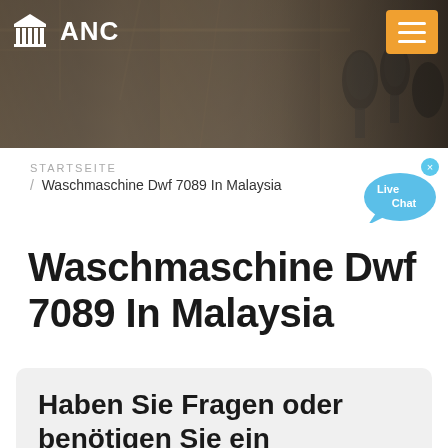[Figure (photo): Website header banner with blurred industrial/factory background and microphones on the right side. ANC logo on top left, orange hamburger menu button on top right.]
ANC
STARTSEITE / Waschmaschine Dwf 7089 In Malaysia
[Figure (illustration): Live Chat speech bubble icon in blue with 'x' close button]
Waschmaschine Dwf 7089 In Malaysia
Haben Sie Fragen oder benötigen Sie ein individuelles Angebot?